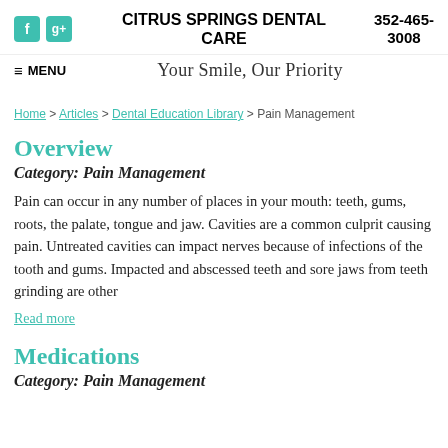CITRUS SPRINGS DENTAL CARE | 352-465-3008
Your Smile, Our Priority
Home > Articles > Dental Education Library > Pain Management
Overview
Category: Pain Management
Pain can occur in any number of places in your mouth: teeth, gums, roots, the palate, tongue and jaw. Cavities are a common culprit causing pain. Untreated cavities can impact nerves because of infections of the tooth and gums. Impacted and abscessed teeth and sore jaws from teeth grinding are other
Read more
Medications
Category: Pain Management